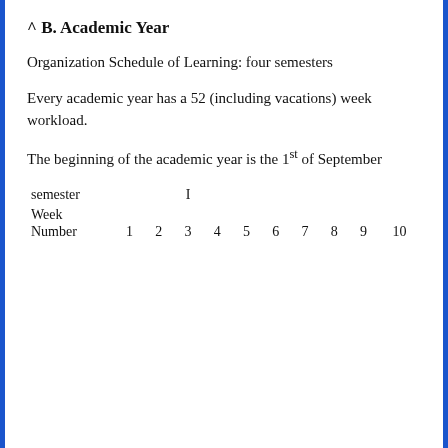^ B. Academic Year
Organization Schedule of Learning: four semesters
Every academic year has a 52 (including vacations) week workload.
The beginning of the academic year is the 1st of September
| semester | I |
| --- | --- |
| Week
Number | 1 | 2 | 3 | 4 | 5 | 6 | 7 | 8 | 9 | 10 |